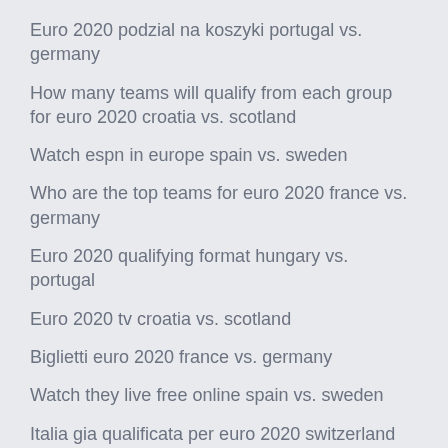Euro 2020 podzial na koszyki portugal vs. germany
How many teams will qualify from each group for euro 2020 croatia vs. scotland
Watch espn in europe spain vs. sweden
Who are the top teams for euro 2020 france vs. germany
Euro 2020 qualifying format hungary vs. portugal
Euro 2020 tv croatia vs. scotland
Biglietti euro 2020 france vs. germany
Watch they live free online spain vs. sweden
Italia gia qualificata per euro 2020 switzerland vs. turkey
Uefas got-style euro 2020 promo slovakia vs. spain